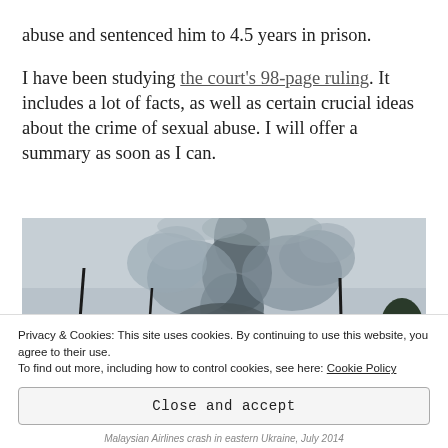abuse and sentenced him to 4.5 years in prison.
I have been studying the court's 98-page ruling. It includes a lot of facts, as well as certain crucial ideas about the crime of sexual abuse. I will offer a summary as soon as I can.
[Figure (photo): Smoke cloud rising in the sky above dark silhouettes of poles and trees, related to Malaysian Airlines crash in eastern Ukraine, July 2014]
Privacy & Cookies: This site uses cookies. By continuing to use this website, you agree to their use.
To find out more, including how to control cookies, see here: Cookie Policy
Close and accept
Malaysian Airlines crash in eastern Ukraine, July 2014